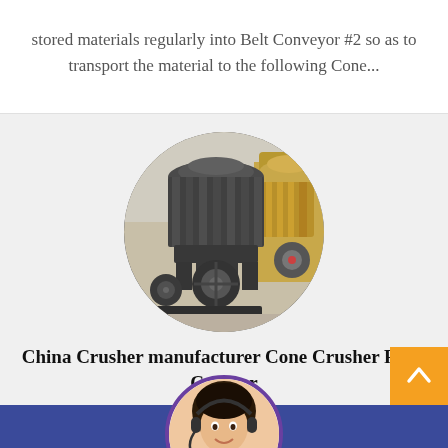stored materials regularly into Belt Conveyor #2 so as to transport the material to the following Cone...
[Figure (photo): Circular cropped photo of cone crusher machines in a factory setting, with large dark-colored cone crushers and a yellow one visible in the background]
China Crusher manufacturer Cone Crusher Rock Crusher
[Figure (photo): Circular photo of a female customer service agent wearing a headset, smiling, used as a chat/quotation assistant icon]
Get Quotation
Online Chat